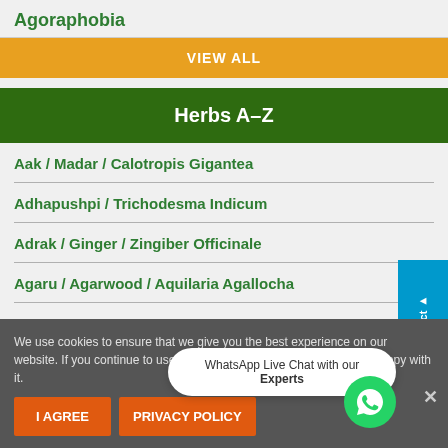Agoraphobia
VIEW ALL
Herbs A–Z
Aak / Madar / Calotropis Gigantea
Adhapushpi / Trichodesma Indicum
Adrak / Ginger / Zingiber Officinale
Agaru / Agarwood / Aquilaria Agallocha
We use cookies to ensure that we give you the best experience on our website. If you continue to use this site we will assume that you are happy with it.
WhatsApp Live Chat with our Experts